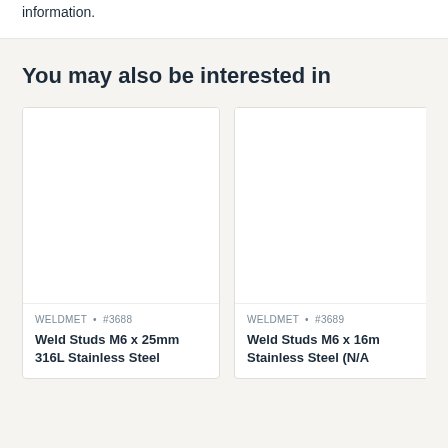information.
You may also be interested in
WELDMET • #3688
Weld Studs M6 x 25mm 316L Stainless Steel
WELDMET • #3689
Weld Studs M6 x 16m Stainless Steel (N/A